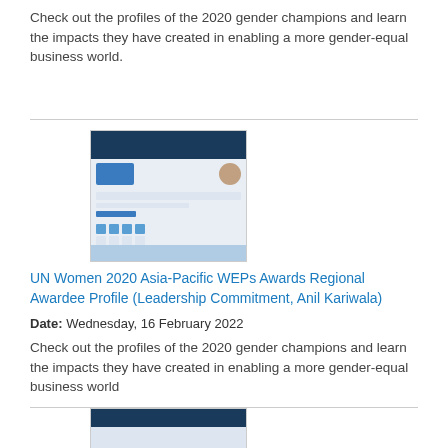Check out the profiles of the 2020 gender champions and learn the impacts they have created in enabling a more gender-equal business world.
[Figure (other): Thumbnail image of a document profile page with a dark blue header, a logo on the left, a circular portrait photo on the right, text fields, icon rows, body text lines, and a blue footer strip.]
UN Women 2020 Asia-Pacific WEPs Awards Regional Awardee Profile (Leadership Commitment, Anil Kariwala)
Date: Wednesday, 16 February 2022
Check out the profiles of the 2020 gender champions and learn the impacts they have created in enabling a more gender-equal business world
[Figure (other): Thumbnail image of another document page with a dark blue header and a light blue body section.]